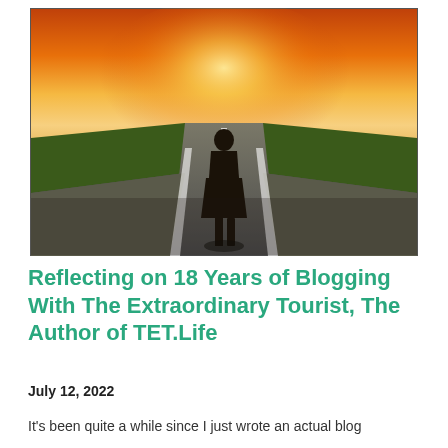[Figure (photo): A silhouette of a person standing on a straight road stretching into the horizon, with a dramatic orange and golden sunset sky in the background and green fields on either side.]
Reflecting on 18 Years of Blogging With The Extraordinary Tourist, The Author of TET.Life
July 12, 2022
It's been quite a while since I just wrote an actual blog